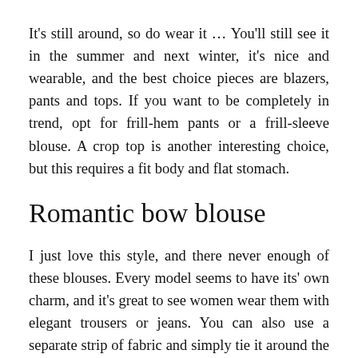It's still around, so do wear it … You'll still see it in the summer and next winter, it's nice and wearable, and the best choice pieces are blazers, pants and tops. If you want to be completely in trend, opt for frill-hem pants or a frill-sleeve blouse. A crop top is another interesting choice, but this requires a fit body and flat stomach.
Romantic bow blouse
I just love this style, and there never enough of these blouses. Every model seems to have its' own charm, and it's great to see women wear them with elegant trousers or jeans. You can also use a separate strip of fabric and simply tie it around the collar, just make sure it's wide enough and that it